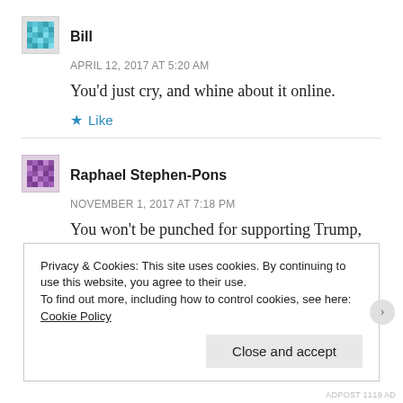[Figure (illustration): Small pixelated avatar icon for user Bill (teal/blue mosaic pattern)]
Bill
APRIL 12, 2017 AT 5:20 AM
You'd just cry, and whine about it online.
Like
[Figure (illustration): Small pixelated avatar icon for user Raphael Stephen-Pons (purple/mauve mosaic pattern)]
Raphael Stephen-Pons
NOVEMBER 1, 2017 AT 7:18 PM
You won't be punched for supporting Trump, and let's be honest anti fa travel in numbers you wouldn't do shit. I am assuming you are a white nationalist who
Privacy & Cookies: This site uses cookies. By continuing to use this website, you agree to their use.
To find out more, including how to control cookies, see here: Cookie Policy
Close and accept